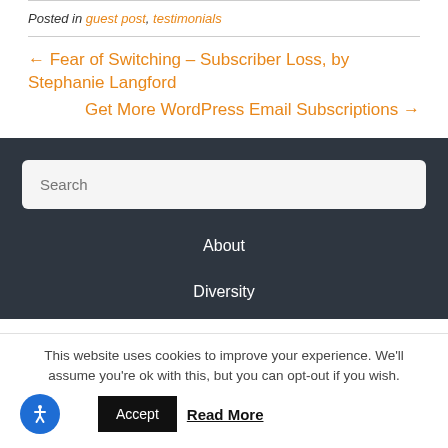Posted in guest post, testimonials
← Fear of Switching – Subscriber Loss, by Stephanie Langford
Get More WordPress Email Subscriptions →
Search
About
Diversity
This website uses cookies to improve your experience. We'll assume you're ok with this, but you can opt-out if you wish.
Accept   Read More